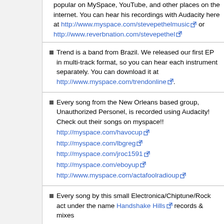popular on MySpace, YouTube, and other places on the internet. You can hear his recordings with Audacity here at http://www.myspace.com/stevepethelmusic or http://www.reverbnation.com/stevepethel
Trend is a band from Brazil. We released our first EP in multi-track format, so you can hear each instrument separately. You can download it at http://www.myspace.com/trendonline.
Every song from the New Orleans based group, Unauthorized Personel, is recorded using Audacity! Check out their songs on myspace!! http://myspace.com/havocup http://myspace.com/lbgreg http://myspace.com/jroc1591 http://myspace.com/eboyup http://www.myspace.com/actafoolradioup
Every song by this small Electronica/Chiptune/Rock act under the name Handshake Hills records & mixes